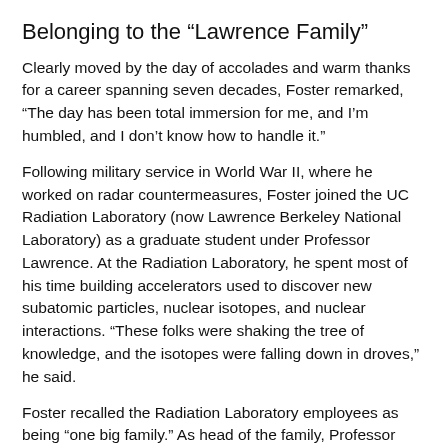Belonging to the “Lawrence Family”
Clearly moved by the day of accolades and warm thanks for a career spanning seven decades, Foster remarked, “The day has been total immersion for me, and I'm humbled, and I don’t know how to handle it.”
Following military service in World War II, where he worked on radar countermeasures, Foster joined the UC Radiation Laboratory (now Lawrence Berkeley National Laboratory) as a graduate student under Professor Lawrence. At the Radiation Laboratory, he spent most of his time building accelerators used to discover new subatomic particles, nuclear isotopes, and nuclear interactions. “These folks were shaking the tree of knowledge, and the isotopes were falling down in droves,” he said.
Foster recalled the Radiation Laboratory employees as being “one big family.” As head of the family, Professor Lawrence noticed one day that Foster was riding a motorcycle and ordered him to get rid of it because he had gone “too many mean free paths [the average distance a moving particle or molecule travels between collisions].” Foster said that many of the characteristics that make Lawrence Livermore unique, such as following the matrix management approach (forming collaborative teams of physicists, chemists,